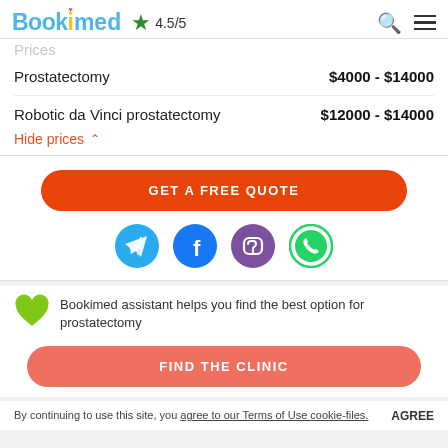Bookimed ★ 4.5/5
Prices
| Procedure | Price Range |
| --- | --- |
| Prostatectomy | $4000 - $14000 |
| Robotic da Vinci prostatectomy | $12000 - $14000 |
Hide prices ∧
GET A FREE QUOTE
[Figure (infographic): Social media icons: Telegram, Facebook, Viber, WhatsApp]
Bookimed assistant helps you find the best option for prostatectomy
FIND THE CLINIC
By continuing to use this site, you agree to our Terms of Use cookie-files. AGREE